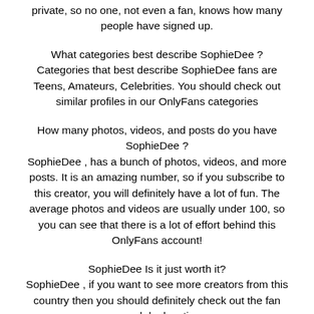private, so no one, not even a fan, knows how many people have signed up.
What categories best describe SophieDee ? Categories that best describe SophieDee fans are Teens, Amateurs, Celebrities. You should check out similar profiles in our OnlyFans categories
How many photos, videos, and posts do you have SophieDee ? SophieDee , has a bunch of photos, videos, and more posts. It is an amazing number, so if you subscribe to this creator, you will definitely have a lot of fun. The average photos and videos are usually under 100, so you can see that there is a lot of effort behind this OnlyFans account!
SophieDee Is it just worth it? SophieDee , if you want to see more creators from this country then you should definitely check out the fan search by location